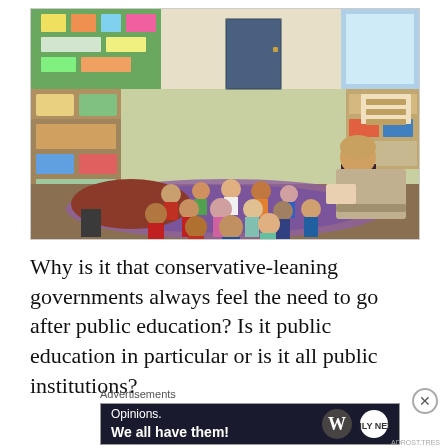[Figure (photo): A classroom photo showing a teacher seated in a chair reading to a group of young elementary school children sitting on a colorful rug on the floor. The classroom has shelves, educational posters, and various supplies visible in the background.]
Why is it that conservative-leaning governments always feel the need to go after public education? Is it public education in particular or is it all public institutions?
Advertisements
[Figure (screenshot): Advertisement banner with dark navy background showing 'Opinions. We all have them!' text in white with WordPress and another logo icon on the right.]